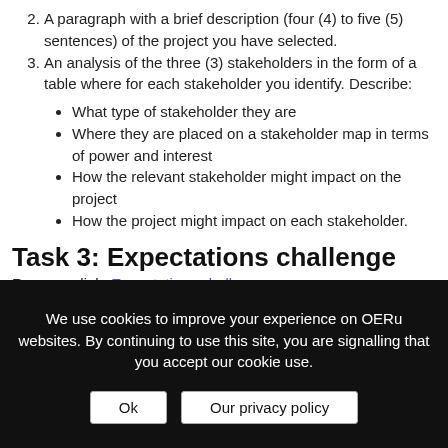2. A paragraph with a brief description (four (4) to five (5) sentences) of the project you have selected.
3. An analysis of the three (3) stakeholders in the form of a table where for each stakeholder you identify. Describe:
What type of stakeholder they are
Where they are placed on a stakeholder map in terms of power and interest
How the relevant stakeholder might impact on the project
How the project might impact on each stakeholder.
Task 3: Expectations challenge
Resource link: Expectations challenge
Performance indicators
We use cookies to improve your experience on OERu websites. By continuing to use this site, you are signalling that you accept our cookie use.